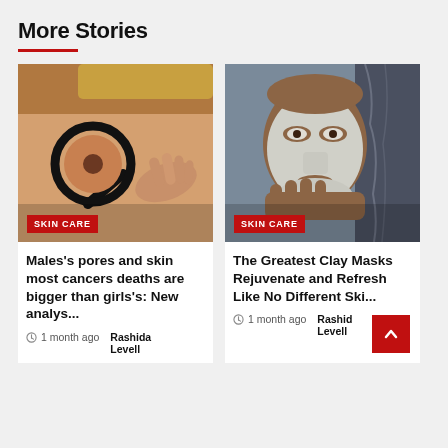More Stories
[Figure (photo): Close-up of a person's back with a magnifying glass examining a mole on skin; SKIN CARE badge overlay]
SKIN CARE
Males's pores and skin most cancers deaths are bigger than girls's: New analys...
1 month ago Rashida Levell
[Figure (photo): Man with a white clay face mask touching his cheek looking in mirror; SKIN CARE badge overlay]
SKIN CARE
The Greatest Clay Masks Rejuvenate and Refresh Like No Different Ski...
1 month ago Rashida Levell